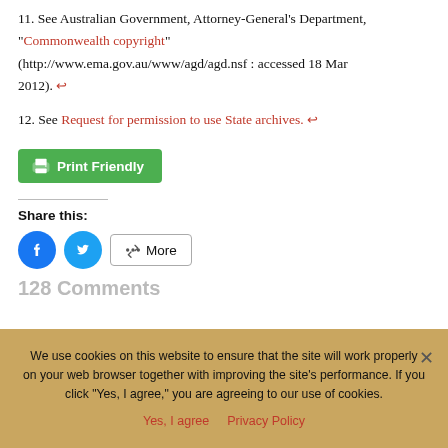11. See Australian Government, Attorney-General's Department, "Commonwealth copyright" (http://www.ema.gov.au/www/agd/agd.nsf : accessed 18 Mar 2012). ↩
12. See Request for permission to use State archives. ↩
Print Friendly
Share this:
More
We use cookies on this website to ensure that the site will work properly on your web browser together with improving the site's performance. If you click "Yes, I agree," you are agreeing to our use of cookies.
Yes, I agree    Privacy Policy
128 Comments